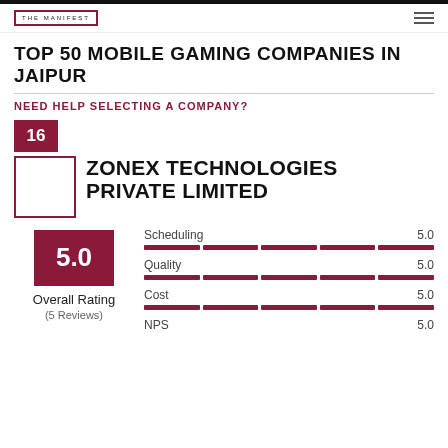THE MANIFEST
TOP 50 MOBILE GAMING COMPANIES IN JAIPUR
NEED HELP SELECTING A COMPANY?
16
ZONEX TECHNOLOGIES PRIVATE LIMITED
5.0 Overall Rating (5 Reviews)
| Category | Score |
| --- | --- |
| Scheduling | 5.0 |
| Quality | 5.0 |
| Cost | 5.0 |
| NPS | 5.0 |